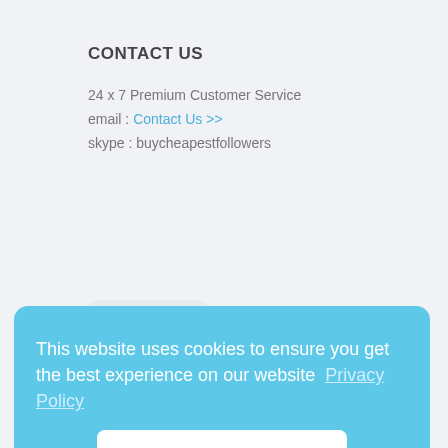CONTACT US
24 x 7 Premium Customer Service
email : Contact Us >>
skype : buycheapestfollowers
[Figure (logo): Chip Online circular logo with red, yellow, and black colors]
COMPANY POLICY
Terms of Service
100% Money Back Guarantee
Privacy Policy
Refund Policy
This website uses cookies to ensure you get the best experience on our website  Privacy Policy
OK